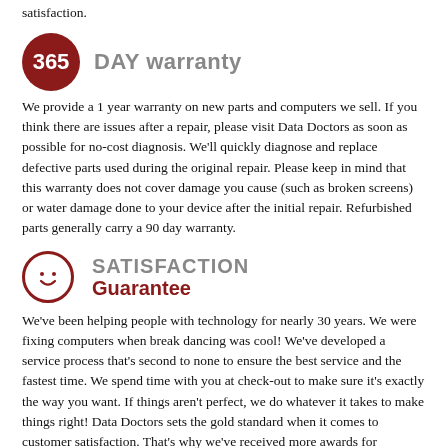satisfaction.
365 DAY warranty
We provide a 1 year warranty on new parts and computers we sell. If you think there are issues after a repair, please visit Data Doctors as soon as possible for no-cost diagnosis. We'll quickly diagnose and replace defective parts used during the original repair. Please keep in mind that this warranty does not cover damage you cause (such as broken screens) or water damage done to your device after the initial repair. Refurbished parts generally carry a 90 day warranty.
SATISFACTION Guarantee
We've been helping people with technology for nearly 30 years. We were fixing computers when break dancing was cool! We've developed a service process that's second to none to ensure the best service and the fastest time. We spend time with you at check-out to make sure it's exactly the way you want. If things aren't perfect, we do whatever it takes to make things right! Data Doctors sets the gold standard when it comes to customer satisfaction. That's why we've received more awards for customer service and satisfaction than